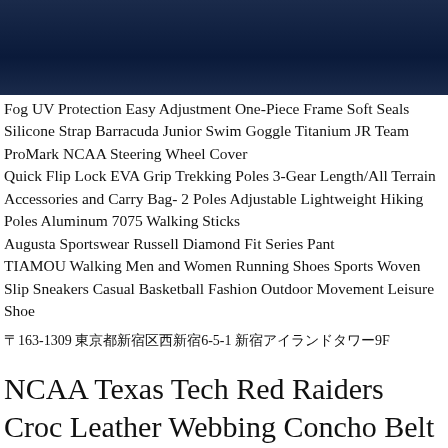[Figure (other): Dark navy blue gradient banner header]
Fog UV Protection Easy Adjustment One-Piece Frame Soft Seals Silicone Strap Barracuda Junior Swim Goggle Titanium JR Team ProMark NCAA Steering Wheel Cover Quick Flip Lock EVA Grip Trekking Poles 3-Gear Length/All Terrain Accessories and Carry Bag- 2 Poles Adjustable Lightweight Hiking Poles Aluminum 7075 Walking Sticks Augusta Sportswear Russell Diamond Fit Series Pant TIAMOU Walking Men and Women Running Shoes Sports Woven Slip Sneakers Casual Basketball Fashion Outdoor Movement Leisure Shoe
〒163-1309 東京都新宿区西新宿6-5-1 新宿アイランドタワー9F
NCAA Texas Tech Red Raiders Croc Leather Webbing Concho Belt 34-Inch Brown